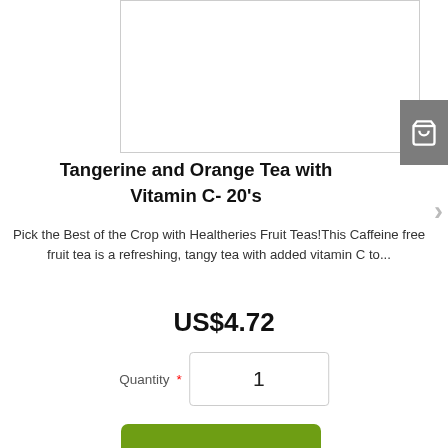[Figure (other): Product image box at top, partially visible, white rectangle with gray border]
Tangerine and Orange Tea with Vitamin C- 20's
Pick the Best of the Crop with Healtheries Fruit Teas!This Caffeine free fruit tea is a refreshing, tangy tea with added vitamin C to...
US$4.72
Quantity * 1
ADD TO CART
[Figure (other): Second product image box at bottom, partially visible, white rectangle with gray border]